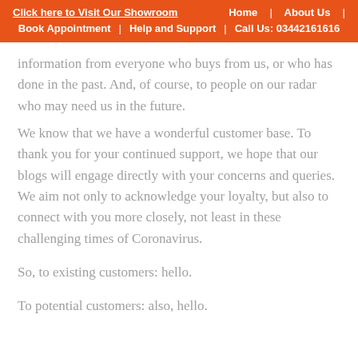Click here to Visit Our Showroom | Home | About Us | Book Appointment | Help and Support | Call Us: 03442161616
information from everyone who buys from us, or who has done in the past. And, of course, to people on our radar who may need us in the future.
We know that we have a wonderful customer base. To thank you for your continued support, we hope that our blogs will engage directly with your concerns and queries. We aim not only to acknowledge your loyalty, but also to connect with you more closely, not least in these challenging times of Coronavirus.

So, to existing customers: hello.

To potential customers: also, hello.